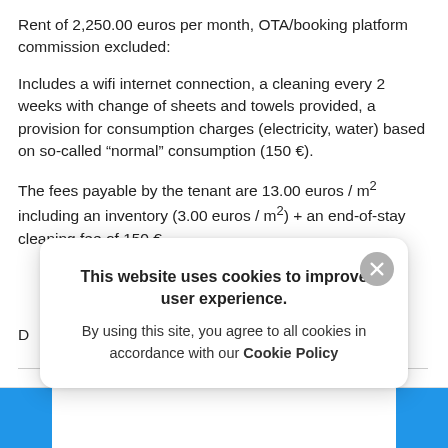Rent of 2,250.00 euros per month, OTA/booking platform commission excluded:
Includes a wifi internet connection, a cleaning every 2 weeks with change of sheets and towels provided, a provision for consumption charges (electricity, water) based on so-called “normal” consumption (150 €).
The fees payable by the tenant are 13.00 euros / m² including an inventory (3.00 euros / m²) + an end-of-stay cleaning fee of 150 €.
D…
[Figure (screenshot): Cookie consent popup overlay with close button (X), title 'This website uses cookies to improve user experience.', body text 'By using this site, you agree to all cookies in accordance with our Cookie Policy', and two blue navigation buttons at bottom corners.]